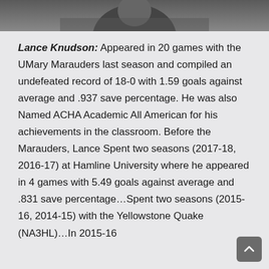[Figure (photo): Partial photo of a person visible at the top of the page, cropped]
Lance Knudson: Appeared in 20 games with the UMary Marauders last season and compiled an undefeated record of 18-0 with 1.59 goals against average and .937 save percentage. He was also Named ACHA Academic All American for his achievements in the classroom. Before the Marauders, Lance Spent two seasons (2017-18, 2016-17) at Hamline University where he appeared in 4 games with 5.49 goals against average and .831 save percentage…Spent two seasons (2015-16, 2014-15) with the Yellowstone Quake (NA3HL)…In 2015-16